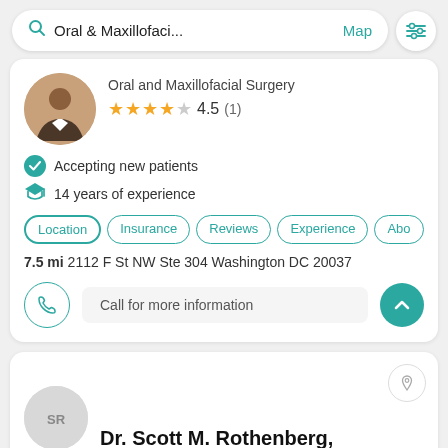[Figure (screenshot): Search bar with 'Oral & Maxillofaci...' text, Map link, and filter button]
Oral and Maxillofacial Surgery
4.5 (1)
Accepting new patients
14 years of experience
Location  Insurance  Reviews  Experience  Abo
7.5 mi 2112 F St NW Ste 304 Washington DC 20037
Call for more information
Dr. Scott M. Rothenberg,